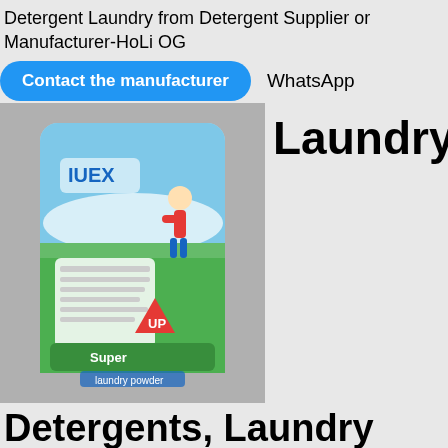Detergent Laundry from Detergent Supplier or Manufacturer-HoLi OG
Contact the manufacturer   WhatsApp
[Figure (photo): Product photo of a blue bag of laundry detergent powder with green and white design, brand name partially visible as 'IUEX', on a grey background.]
Laundry
Detergents, Laundry Detergents direct from ...
Chat online   WhatsApp